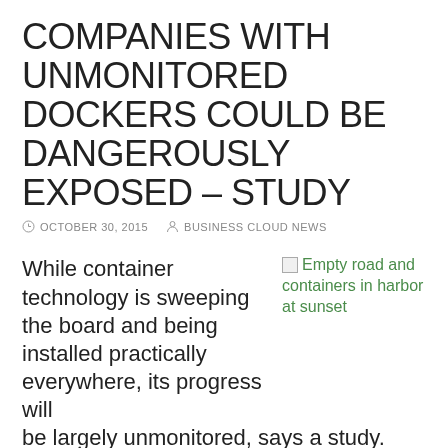COMPANIES WITH UNMONITORED DOCKERS COULD BE DANGEROUSLY EXPOSED – STUDY
OCTOBER 30, 2015   BUSINESS CLOUD NEWS
While container technology is sweeping the board and being installed practically everywhere, its progress will be largely unmonitored, says a study. According to the
[Figure (photo): Empty road and containers in harbor at sunset (broken image placeholder)]